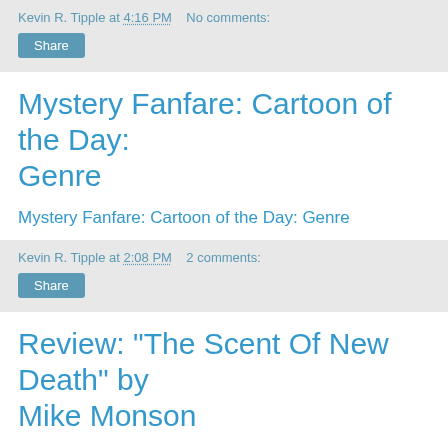Kevin R. Tipple at 4:16 PM   No comments:
Share
Mystery Fanfare: Cartoon of the Day: Genre
Mystery Fanfare: Cartoon of the Day: Genre
Kevin R. Tipple at 2:08 PM   2 comments:
Share
Review: "The Scent Of New Death" by Mike Monson
One simply can't judge a book by the cover. That is certainly the case here with a picturesque cover that conceals an intensely